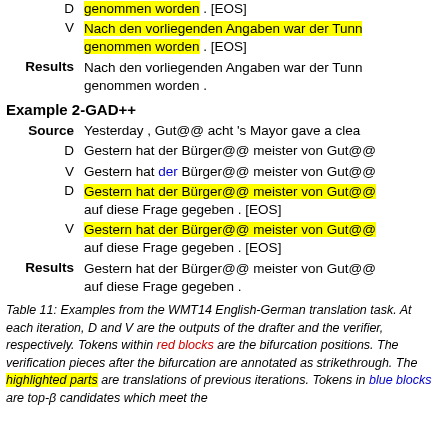D   [highlighted] genommen worden . [EOS]
V   Nach den vorliegenden Angaben war der Tunn... [highlighted] genommen worden . [EOS]
Results   Nach den vorliegenden Angaben war der Tunn... genommen worden .
Example 2-GAD++
Source   Yesterday , Gut@@ acht 's Mayor gave a clea...
D   Gestern hat der Bürger@@ meister von Gut@...
V   Gestern hat [blue: der] Bürger@@ meister von Gut@...
D   [highlighted] Gestern hat der Bürger@@ meister von Gut@... auf diese Frage gegeben . [EOS]
V   [highlighted] Gestern hat der Bürger@@ meister von Gut@... auf diese Frage gegeben . [EOS]
Results   Gestern hat der Bürger@@ meister von Gut@... auf diese Frage gegeben .
Table 11: Examples from the WMT14 English-German translation task. At each iteration, D and V are the outputs of the drafter and the verifier, respectively. Tokens within red blocks are the bifurcation positions. The verification pieces after the bifurcation are annotated as strikethrough. The highlighted parts are translations of previous iterations. Tokens in blue blocks are top-β candidates which meet the